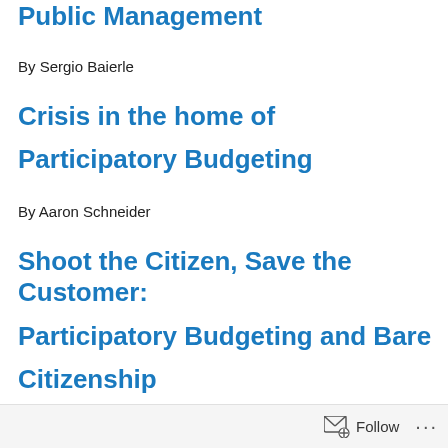Public Management
By Sergio Baierle
Crisis in the home of Participatory Budgeting
By Aaron Schneider
Shoot the Citizen, Save the Customer: Participatory Budgeting and Bare Citizenship
Follow ...